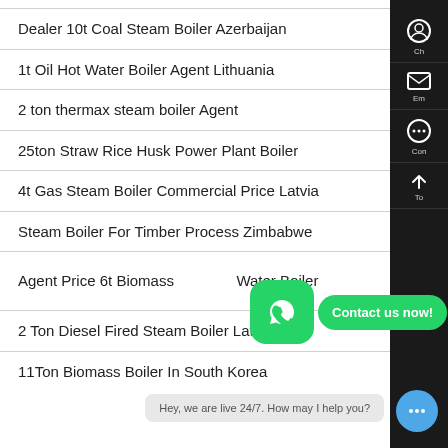Dealer 10t Coal Steam Boiler Azerbaijan
1t Oil Hot Water Boiler Agent Lithuania
2 ton thermax steam boiler Agent
25ton Straw Rice Husk Power Plant Boiler
4t Gas Steam Boiler Commercial Price Latvia
Steam Boiler For Timber Process Zimbabwe
Agent Price 6t Biomass Water Boiler
2 Ton Diesel Fired Steam Boiler Latvia
11Ton Biomass Boiler In South Korea
[Figure (infographic): WhatsApp contact button overlay with green rounded square icon and 'Contact us now!' green bubble, plus live chat bubble saying 'Hey, we are live 24/7. How may I help you?' with blue chat icon]